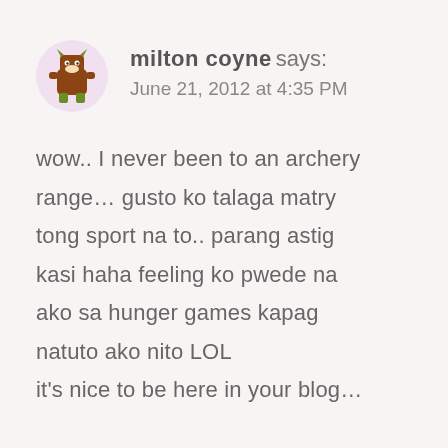[Figure (illustration): Small cartoon monster avatar — brown body with green legs and horns, circular purple-tinted background]
milton coyne says:
June 21, 2012 at 4:35 PM
wow.. I never been to an archery range… gusto ko talaga matry tong sport na to.. parang astig kasi haha feeling ko pwede na ako sa hunger games kapag natuto ako nito LOL
it's nice to be here in your blog…